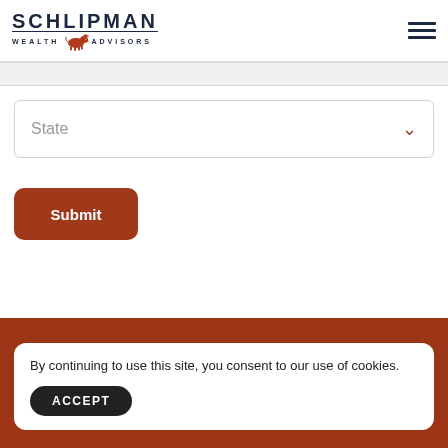[Figure (logo): Schlipman Wealth Advisors logo with bull graphic]
State
Submit
By continuing to use this site, you consent to our use of cookies.
ACCEPT